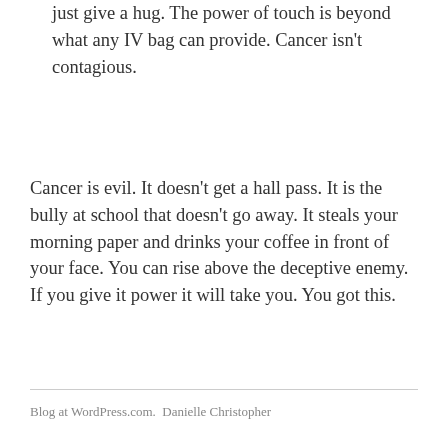just give a hug. The power of touch is beyond what any IV bag can provide. Cancer isn't contagious.
Cancer is evil. It doesn't get a hall pass. It is the bully at school that doesn't go away. It steals your morning paper and drinks your coffee in front of your face. You can rise above the deceptive enemy. If you give it power it will take you. You got this.
Blog at WordPress.com.  Danielle Christopher